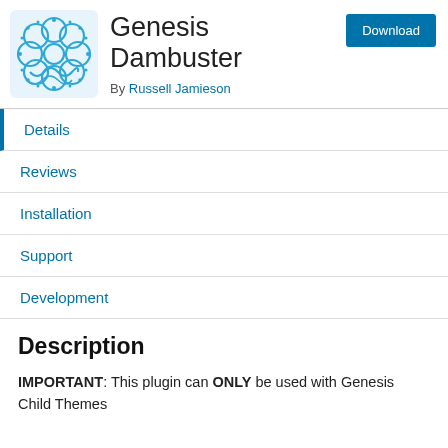[Figure (logo): Blue ornamental circular mandala-style logo icon for Genesis Dambuster plugin]
Genesis Dambuster
By Russell Jamieson
Details
Reviews
Installation
Support
Development
Description
IMPORTANT: This plugin can ONLY be used with Genesis Child Themes